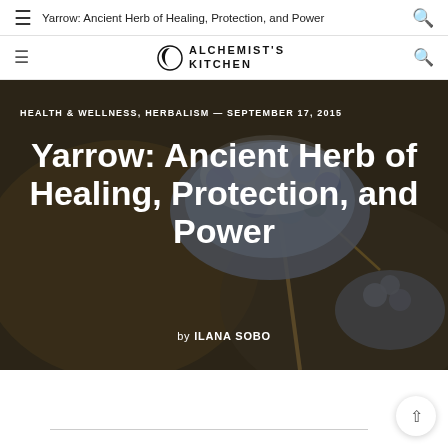Yarrow: Ancient Herb of Healing, Protection, and Power
[Figure (logo): Alchemist's Kitchen logo with crescent moon/circle icon and text ALCHEMIST'S KITCHEN]
[Figure (photo): Close-up photo of yarrow plant with dried flower clusters against a dark blurred background]
HEALTH & WELLNESS, HERBALISM — SEPTEMBER 17, 2015
Yarrow: Ancient Herb of Healing, Protection, and Power
by ILANA SOBO